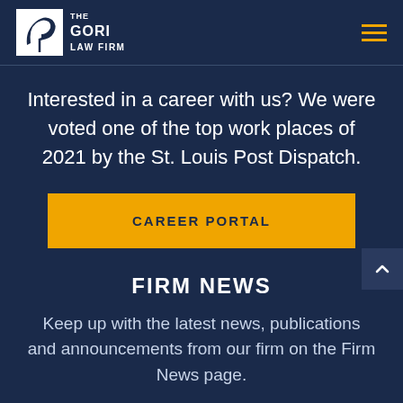THE GORI LAW FIRM
Interested in a career with us? We were voted one of the top work places of 2021 by the St. Louis Post Dispatch.
CAREER PORTAL
FIRM NEWS
Keep up with the latest news, publications and announcements from our firm on the Firm News page.